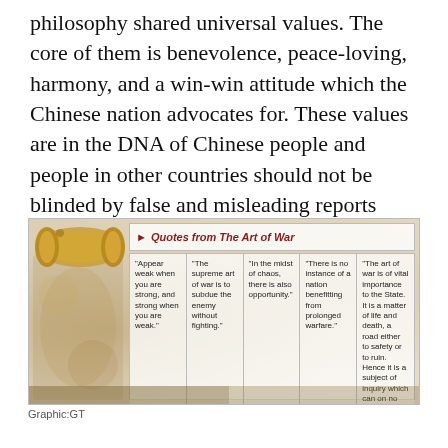philosophy shared universal values. The core of them is benevolence, peace-loving, harmony, and a win-win attitude which the Chinese nation advocates for. These values are in the DNA of Chinese people and people in other countries should not be blinded by false and misleading reports from those vicious forces.
[Figure (infographic): Infographic titled 'Quotes from The Art of War' showing five quotes in a grid layout over a decorative background with a scroll image. Quotes: 1) 'Appear weak when you are strong, and strong when you are weak.' 2) 'The supreme art of war is to subdue the enemy without fighting.' 3) 'In the midst of chaos, there is also opportunity.' 4) 'There is no instance of a nation benefitting from prolonged warfare.' 5) 'The art of war is of vital importance to the State. It is a matter of life and death, a road either to safety or to ruin. Hence it is a subject of inquiry which can on no account be neglected.']
Graphic:GT